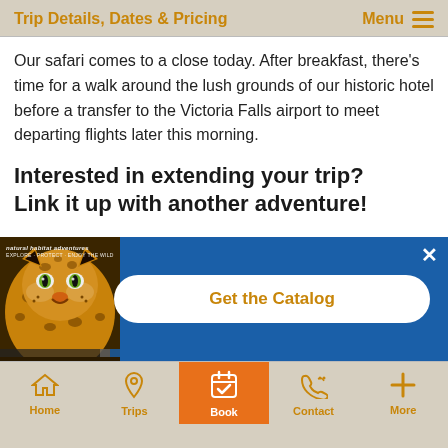Trip Details, Dates & Pricing  Menu
Our safari comes to a close today. After breakfast, there's time for a walk around the lush grounds of our historic hotel before a transfer to the Victoria Falls airport to meet departing flights later this morning.
Interested in extending your trip? Link it up with another adventure!
[Figure (screenshot): Mobile app promotional banner showing a leopard catalog cover on the left and a 'Get the Catalog' button on a blue background on the right, with a close (X) button in the top right corner.]
Home  Trips  Book  Contact  More